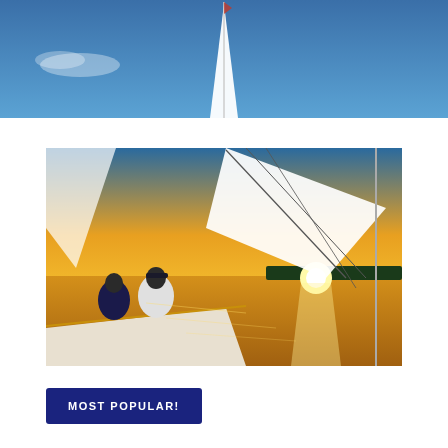[Figure (photo): Aerial or distant view of a white sailboat sail tip against a clear blue sky with a few clouds]
[Figure (photo): Two people sitting on the deck of a sailboat watching a golden sunset over calm water, with large white sails visible and golden reflections on the water]
MOST POPULAR!